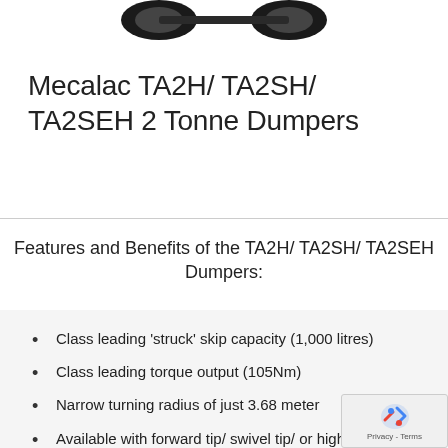[Figure (photo): Partial top view of Mecalac dumper machine wheels/chassis against white background]
Mecalac TA2H/ TA2SH/ TA2SEH 2 Tonne Dumpers
Features and Benefits of the TA2H/ TA2SH/ TA2SEH Dumpers:
Class leading ‘struck’ skip capacity (1,000 litres)
Class leading torque output (105Nm)
Narrow turning radius of just 3.68 meter
Available with forward tip/ swivel tip/ or high discharge & swivel tip